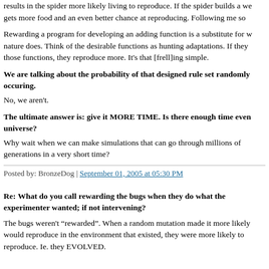results in the spider more likely living to reproduce. If the spider builds a we gets more food and an even better chance at reproducing. Following me so
Rewarding a program for developing an adding function is a substitute for w nature does. Think of the desirable functions as hunting adaptations. If they those functions, they reproduce more. It's that [frell]ing simple.
We are talking about the probability of that designed rule set randomly occuring.
No, we aren't.
The ultimate answer is: give it MORE TIME. Is there enough time even universe?
Why wait when we can make simulations that can go through millions of generations in a very short time?
Posted by: BronzeDog | September 01, 2005 at 05:30 PM
Re: What do you call rewarding the bugs when they do what the experimenter wanted; if not intervening?
The bugs weren't “rewarded”. When a random mutation made it more likely would reproduce in the environment that existed, they were more likely to reproduce. Ie. they EVOLVED.